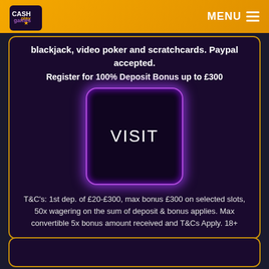playCASHgames — MENU
blackjack, video poker and scratchcards. Paypal accepted.
Register for 100% Deposit Bonus up to £300
[Figure (other): Purple neon-bordered square button with the word VISIT in white text on dark background]
T&C's: 1st dep. of £20-£300, max bonus £300 on selected slots, 50x wagering on the sum of deposit & bonus applies. Max convertible 5x bonus amount received and T&Cs Apply. 18+